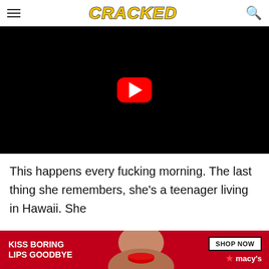≡ CRACKED 🔍
[Figure (screenshot): Black video player with YouTube play button (red rounded rectangle with white triangle) centered on black background]
This happens every fucking morning. The last thing she remembers, she's a teenager living in Hawaii. She
[Figure (photo): Macy's advertisement banner: red background with woman showing red lips, text 'KISS BORING LIPS GOODBYE' and 'SHOP NOW ★ macy's']